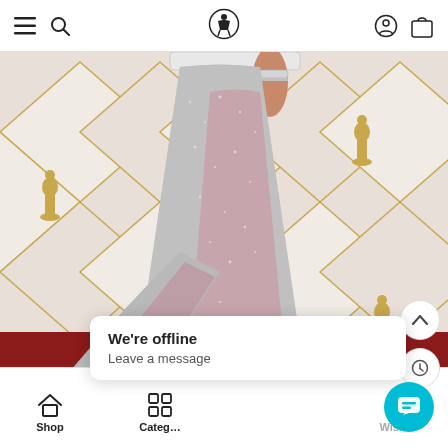Navigation bar with hamburger menu, search, brand logo, account, and bag icons
[Figure (photo): A person wearing a silver and pink sequined gown with a long train, photographed from the waist down on the Oscars red carpet. Gold diamond-pattern walls with Oscar statuettes visible in background.]
We're offline
Leave a message
Shop   Categories   Wish